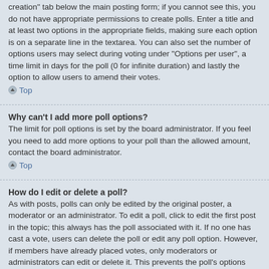When posting a new topic or editing the first post of a topic, click the "Poll creation" tab below the main posting form; if you cannot see this, you do not have appropriate permissions to create polls. Enter a title and at least two options in the appropriate fields, making sure each option is on a separate line in the textarea. You can also set the number of options users may select during voting under “Options per user”, a time limit in days for the poll (0 for infinite duration) and lastly the option to allow users to amend their votes.
Top
Why can’t I add more poll options?
The limit for poll options is set by the board administrator. If you feel you need to add more options to your poll than the allowed amount, contact the board administrator.
Top
How do I edit or delete a poll?
As with posts, polls can only be edited by the original poster, a moderator or an administrator. To edit a poll, click to edit the first post in the topic; this always has the poll associated with it. If no one has cast a vote, users can delete the poll or edit any poll option. However, if members have already placed votes, only moderators or administrators can edit or delete it. This prevents the poll’s options from being changed mid-way through a poll.
Top
Why can’t I access a forum?
Some forums may be limited to certain users or groups. To view, read, post or